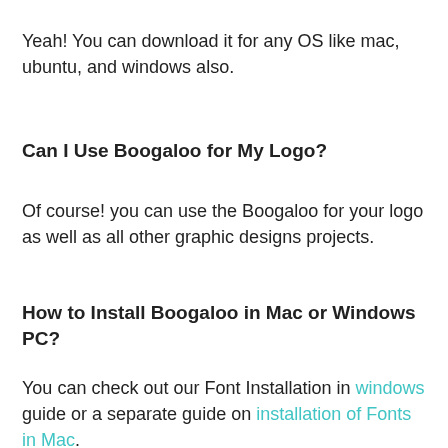Yeah! You can download it for any OS like mac, ubuntu, and windows also.
Can I Use Boogaloo for My Logo?
Of course! you can use the Boogaloo for your logo as well as all other graphic designs projects.
How to Install Boogaloo in Mac or Windows PC?
You can check out our Font Installation in windows guide or a separate guide on installation of Fonts in Mac.